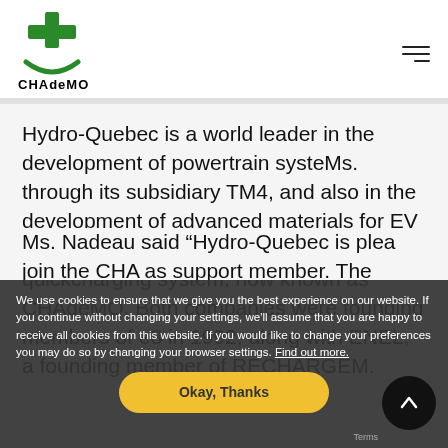[Figure (logo): CHAdeMO logo: green plus/cross symbol above a green smile arc, with text CHAdeMO below]
Hydro-Quebec is a world leader in the development of powertrain systeMs. through its subsidiary TM4, and also in the development of advanced materials for EV batteries, and TEPCO has developed a DC quickcharging system, now known as CHAdeMO. Both companies were founding members of e8 in 1992, along with ENEL, a founding member of RECHARGEM.
Ms. Nadeau said "Hydro-Quebec is plea... join the CHA... as support... member. The evolution and deployment of the...
We use cookies to ensure that we give you the best experience on our website. If you continue without changing your settings, we'll assume that you are happy to receive all cookies from this website. If you would like to change your preferences you may do so by changing your browser settings. Find out more.